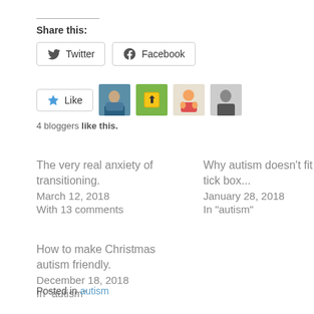Share this:
[Figure (other): Twitter and Facebook share buttons]
[Figure (other): Like button with 4 blogger avatars]
4 bloggers like this.
The very real anxiety of transitioning.
March 12, 2018
With 13 comments
Why autism doesn't fit into a tick box...
January 28, 2018
In "autism"
How to make Christmas autism friendly.
December 18, 2018
In "autism"
Posted in autism